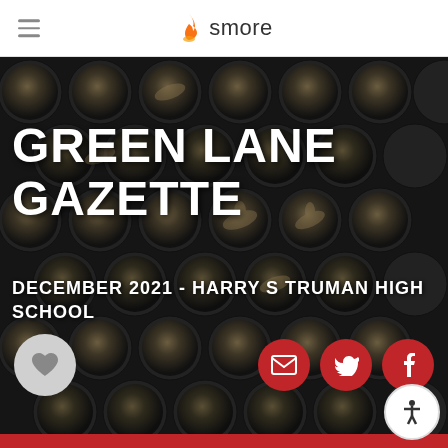smore
[Figure (illustration): Dark background filled with repeating tiger mascot logo circles (Missouri Tigers style) in black and gold/tan color scheme arranged in a grid pattern covering the entire hero area]
GREEN LANE GAZETTE
DECEMBER 2021 - HARRY S TRUMAN HIGH SCHOOL